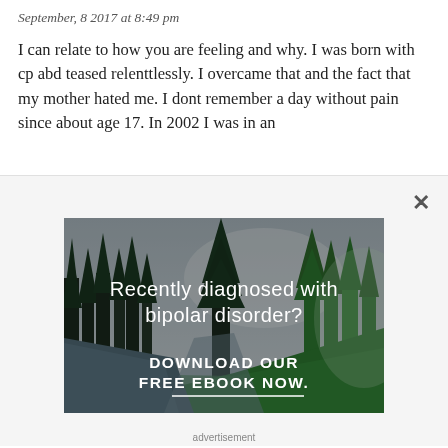September, 8 2017 at 8:49 pm
I can relate to how you are feeling and why. I was born with cp abd teased relenttlessly. I overcame that and the fact that my mother hated me. I dont remember a day without pain since about age 17. In 2002 I was in an
[Figure (photo): Advertisement photo of a forest and river landscape with text overlay reading 'Recently diagnosed with bipolar disorder? DOWNLOAD OUR FREE EBOOK NOW.' with a white underline]
advertisement